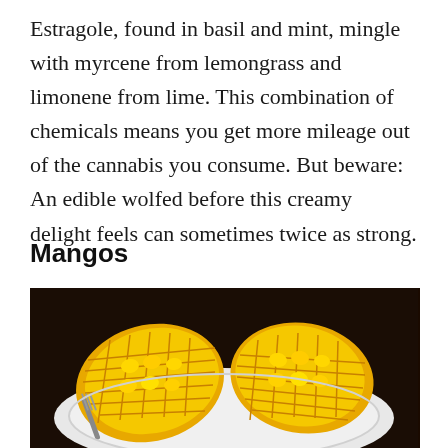Estragole, found in basil and mint, mingle with myrcene from lemongrass and limonene from lime. This combination of chemicals means you get more mileage out of the cannabis you consume. But beware: An edible wolfed before this creamy delight feels can sometimes twice as strong.
Mangos
[Figure (photo): Two halves of a mango cut into a grid pattern (hedgehog style) displaying bright yellow-orange flesh cubes, placed on a white plate with a fork, dark background.]